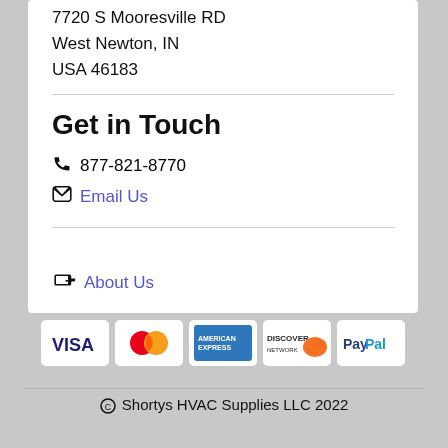7720 S Mooresville RD
West Newton, IN
USA 46183
Get in Touch
877-821-8770
Email Us
About Us
[Figure (logo): Payment method logos: VISA, MasterCard, American Express, Discover, PayPal]
© Shortys HVAC Supplies LLC 2022